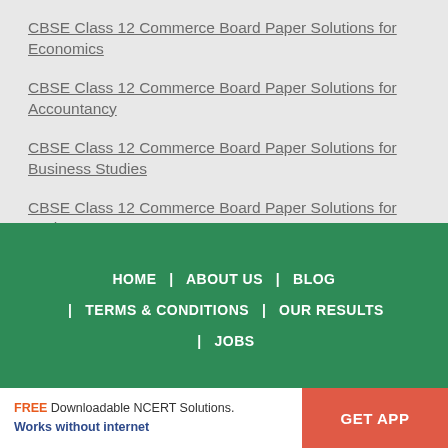CBSE Class 12 Commerce Board Paper Solutions for Economics
CBSE Class 12 Commerce Board Paper Solutions for Accountancy
CBSE Class 12 Commerce Board Paper Solutions for Business Studies
CBSE Class 12 Commerce Board Paper Solutions for Math
CBSE Class 12 Humanities Board Paper Solutions for English
HOME | ABOUT US | BLOG | TERMS & CONDITIONS | OUR RESULTS | JOBS
FREE Downloadable NCERT Solutions. Works without internet
GET APP